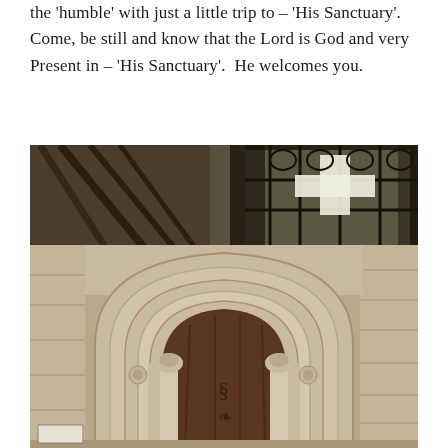the 'humble' with just a little trip to – 'His Sanctuary'.  Come, be still and know that the Lord is God and very Present in – 'His Sanctuary'.  He welcomes you.
[Figure (photo): Interior photograph of a Gothic church showing a large ornate pointed arch doorway with heavy dark wooden doors, flanked by stone columns with carved capitals. Above the arch, a large Gothic tracery window with stained glass allows bright light to stream through. The stone walls and vaulted ceiling details are visible.]